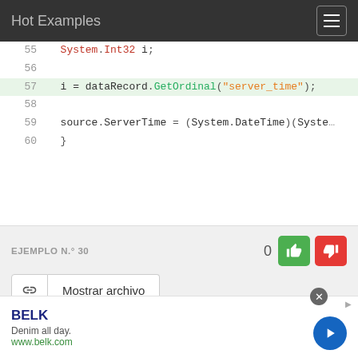Hot Examples
[Figure (screenshot): Code block showing lines 55-60 of C# code. Line 55: System.Int32 i; (partially visible). Line 56: empty. Line 57 (highlighted in green): i = dataRecord.GetOrdinal("server_time");. Line 58: empty. Line 59: source.ServerTime = (System.DateTime)(Syste... Line 60: }]
EJEMPLO N.° 30
0
Mostrar archivo
Archivo: GuildMemberTableDbExtensions.cs
Proyecto: mateuscezar/netgore
[Figure (infographic): Advertisement banner for BELK - Denim all day. www.belk.com]